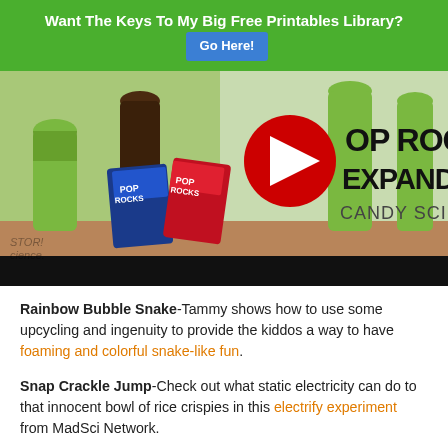Want The Keys To My Big Free Printables Library? Go Here!
[Figure (screenshot): YouTube video thumbnail showing Pop Rocks candy, soda bottles, and YouTube play button logo. Text reads: POP ROCKS EXPANDER CANDY SCIENCE]
Rainbow Bubble Snake-Tammy shows how to use some upcycling and ingenuity to provide the kiddos a way to have foaming and colorful snake-like fun.
Snap Crackle Jump-Check out what static electricity can do to that innocent bowl of rice crispies in this electrify experiment from MadSci Network.